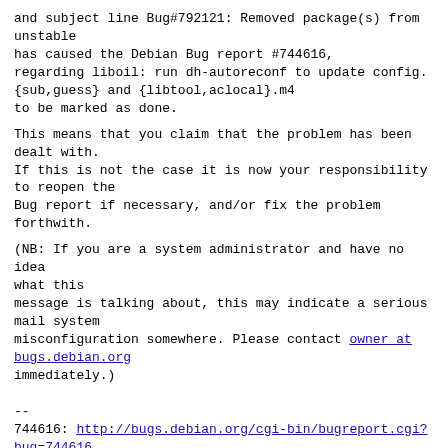and subject line Bug#792121: Removed package(s) from unstable
has caused the Debian Bug report #744616,
regarding liboil: run dh-autoreconf to update config.{sub,guess} and {libtool,aclocal}.m4
to be marked as done.
This means that you claim that the problem has been dealt with.
If this is not the case it is now your responsibility to reopen the
Bug report if necessary, and/or fix the problem forthwith.
(NB: If you are a system administrator and have no idea what this
message is talking about, this may indicate a serious mail system
misconfiguration somewhere. Please contact owner at bugs.debian.org
immediately.)
--
744616: http://bugs.debian.org/cgi-bin/bugreport.cgi?bug=744616
Debian Bug Tracking System
Contact owner at bugs.debian.org with problems
-------------- next part --------------
An embedded message was scrubbed...